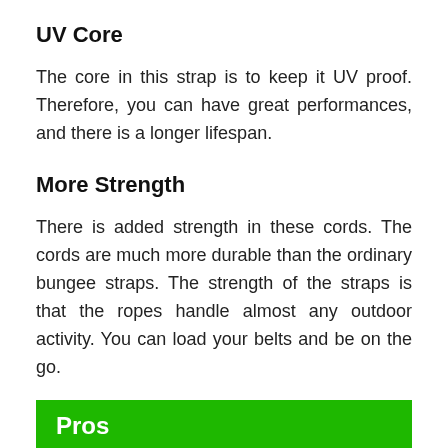UV Core
The core in this strap is to keep it UV proof. Therefore, you can have great performances, and there is a longer lifespan.
More Strength
There is added strength in these cords. The cords are much more durable than the ordinary bungee straps. The strength of the straps is that the ropes handle almost any outdoor activity. You can load your belts and be on the go.
Pros
You can tuck the cords away in a sack